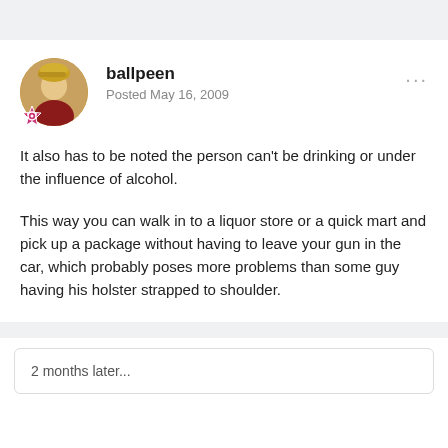ballpeen
Posted May 16, 2009
It also has to be noted the person can't be drinking or under the influence of alcohol.
This way you can walk in to a liquor store or a quick mart and pick up a package without having to leave your gun in the car, which probably poses more problems than some guy having his holster strapped to shoulder.
2 months later...